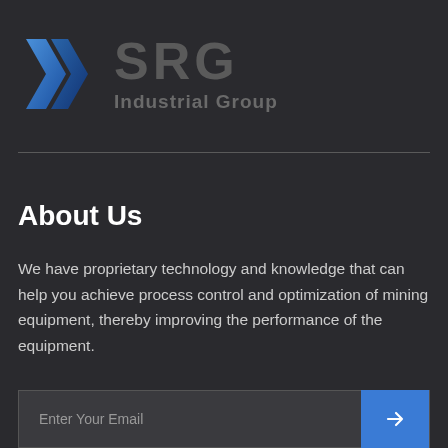[Figure (logo): SRG Industrial Group logo with blue angular chevron/arrow graphic icon on the left and dark gray text 'SRG' and 'Industrial Group' on the right]
About Us
We have proprietary technology and knowledge that can help you achieve process control and optimization of mining equipment, thereby improving the performance of the equipment.
Enter Your Email